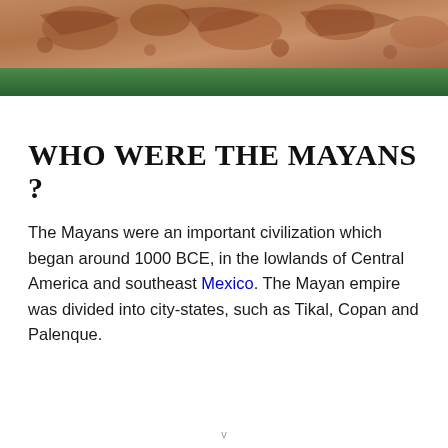[Figure (photo): Photograph of Mayan stone carved relief sculpture with green painted band at bottom]
WHO WERE THE MAYANS ?
The Mayans were an important civilization which began around 1000 BCE, in the lowlands of Central America and southeast Mexico. The Mayan empire was divided into city-states, such as Tikal, Copan and Palenque.